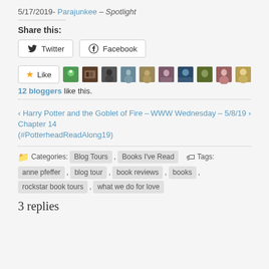5/17/2019- Parajunkee – Spotlight
Share this:
Twitter   Facebook
[Figure (other): Like button with star icon and 10 blogger avatar thumbnails]
12 bloggers like this.
‹ Harry Potter and the Goblet of Fire – Chapter 14 (#PotterheadReadAlong19)   WWW Wednesday – 5/8/19 ›
Categories: Blog Tours , Books I've Read   Tags: anne pfeffer , blog tour , book reviews , books , rockstar book tours , what we do for love
3 replies